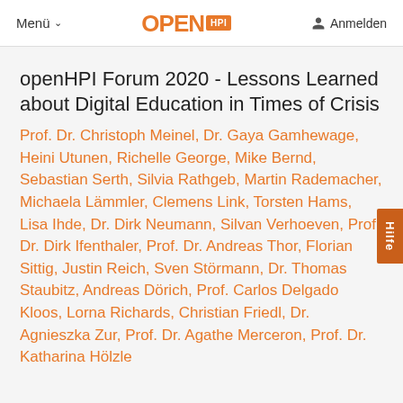Menü  OPEN HPI  Anmelden
openHPI Forum 2020 - Lessons Learned about Digital Education in Times of Crisis
Prof. Dr. Christoph Meinel, Dr. Gaya Gamhewage, Heini Utunen, Richelle George, Mike Bernd, Sebastian Serth, Silvia Rathgeb, Martin Rademacher, Michaela Lämmler, Clemens Link, Torsten Hams, Lisa Ihde, Dr. Dirk Neumann, Silvan Verhoeven, Prof. Dr. Dirk Ifenthaler, Prof. Dr. Andreas Thor, Florian Sittig, Justin Reich, Sven Störmann, Dr. Thomas Staubitz, Andreas Dörich, Prof. Carlos Delgado Kloos, Lorna Richards, Christian Friedl, Dr. Agnieszka Zur, Prof. Dr. Agathe Merceron, Prof. Dr. Katharina Hölzle